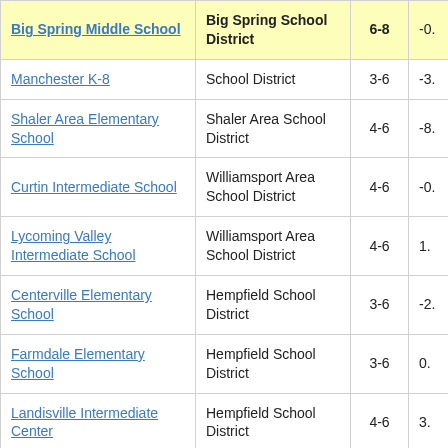| School | District | Grades | Score |
| --- | --- | --- | --- |
| Big Spring Middle School | Big Spring School District | 6-8 | -0. |
| Manchester K-8 | School District | 3-6 | -3. |
| Shaler Area Elementary School | Shaler Area School District | 4-6 | -8. |
| Curtin Intermediate School | Williamsport Area School District | 4-6 | -0. |
| Lycoming Valley Intermediate School | Williamsport Area School District | 4-6 | 1. |
| Centerville Elementary School | Hempfield School District | 3-6 | -2. |
| Farmdale Elementary School | Hempfield School District | 3-6 | 0. |
| Landisville Intermediate Center | Hempfield School District | 4-6 | 3. |
|  |  |  |  |